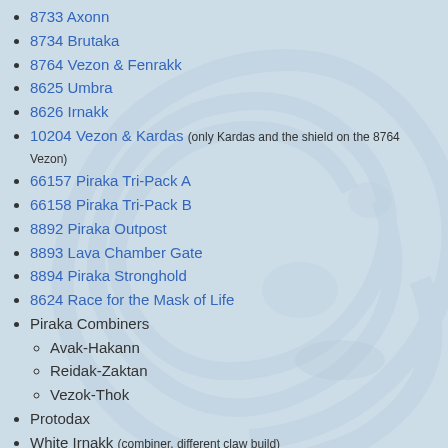8733 Axonn
8734 Brutaka
8764 Vezon & Fenrakk
8625 Umbra
8626 Irnakk
10204 Vezon & Kardas (only Kardas and the shield on the 8764 Vezon)
66157 Piraka Tri-Pack A
66158 Piraka Tri-Pack B
8892 Piraka Outpost
8893 Lava Chamber Gate
8894 Piraka Stronghold
8624 Race for the Mask of Life
Piraka Combiners
Avak-Hakann
Reidak-Zaktan
Vezok-Thok
Protodax
White Irnakk (combiner, different claw build)
Jovan
Dagger Spider